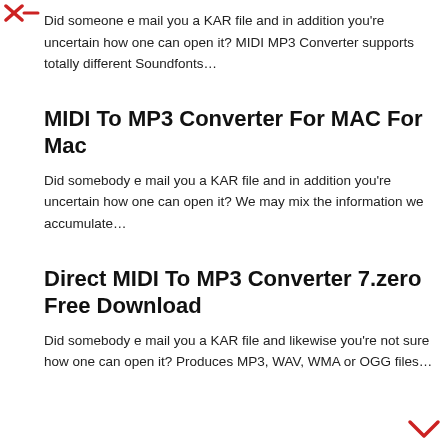[Figure (other): Red X navigation icon at top left]
Did someone e mail you a KAR file and in addition you're uncertain how one can open it? MIDI MP3 Converter supports totally different Soundfonts…
MIDI To MP3 Converter For MAC For Mac
Did somebody e mail you a KAR file and in addition you're uncertain how one can open it? We may mix the information we accumulate…
Direct MIDI To MP3 Converter 7.zero Free Download
Did somebody e mail you a KAR file and likewise you're not sure how one can open it? Produces MP3, WAV, WMA or OGG files…
[Figure (other): Red chevron/arrow navigation icon at bottom right]